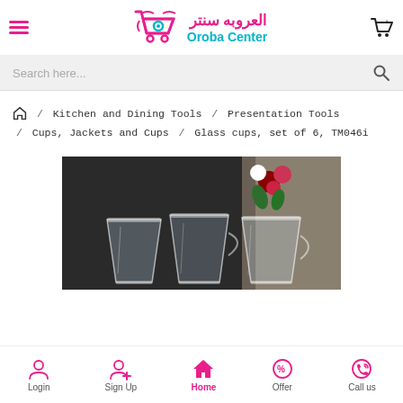[Figure (logo): Oroba Center logo with shopping cart icon, Arabic text العروبه سنتر and English text Oroba Center in pink and cyan colors]
Search here...
Home / Kitchen and Dining Tools / Presentation Tools / Cups, Jackets and Cups / Glass cups, set of 6, TM046i
[Figure (photo): Photo of glass cups set on a table with flowers in background]
Login  Sign Up  Home  Offer  Call us